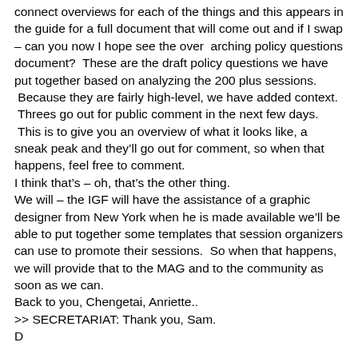connect overviews for each of the things and this appears in the guide for a full document that will come out and if I swap – can you now I hope see the over  arching policy questions document?  These are the draft policy questions we have put together based on analyzing the 200 plus sessions.  Because they are fairly high-level, we have added context.  Threes go out for public comment in the next few days.  This is to give you an overview of what it looks like, a sneak peak and they'll go out for comment, so when that happens, feel free to comment.
I think that's – oh, that's the other thing.
We will – the IGF will have the assistance of a graphic designer from New York when he is made available we'll be able to put together some templates that session organizers can use to promote their sessions.  So when that happens, we will provide that to the MAG and to the community as soon as we can.
Back to you, Chengetai, Anriette..
>> SECRETARIAT: Thank you, Sam.
P...